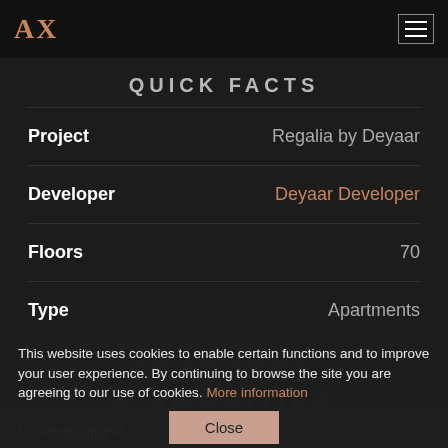AX [logo] | hamburger menu
QUICK FACTS
| Label | Value |
| --- | --- |
| Project | Regalia by Deyaar |
| Developer | Deyaar Developer |
| Floors | 70 |
| Type | Apartments |
This website uses cookies to enable certain functions and to improve your user experience. By continuing to browse the site you are agreeing to our use of cookies. More information
Close
FEATURES & AMENITIES
Concierge Service
Security